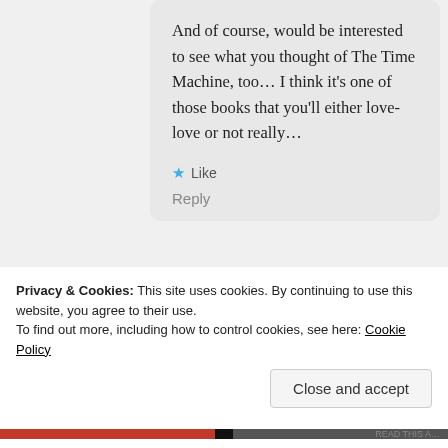And of course, would be interested to see what you thought of The Time Machine, too… I think it's one of those books that you'll either love-love or not really…
★ Like
Reply
[Figure (photo): Circular avatar photo of a woman with reddish-brown hair]
Privacy & Cookies: This site uses cookies. By continuing to use this website, you agree to their use.
To find out more, including how to control cookies, see here: Cookie Policy
Close and accept